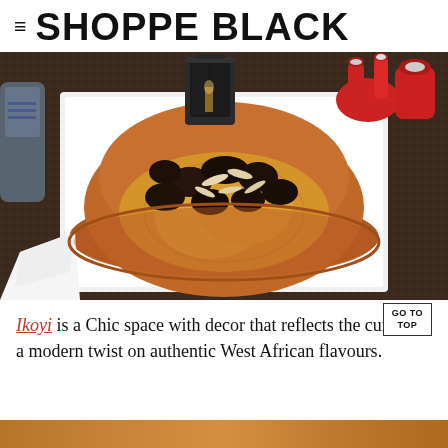≡ SHOPPE BLACK
[Figure (photo): A Moroccan-style clay tagine dish on a white square plate, containing yellow/turmeric-colored meat or chicken topped with dark prunes and slivered almonds. Background shows a dark lantern and red spice containers on a woven table surface.]
Ikoyi is a Chic space with decor that reflects the cuisine: a modern twist on authentic West African flavours.